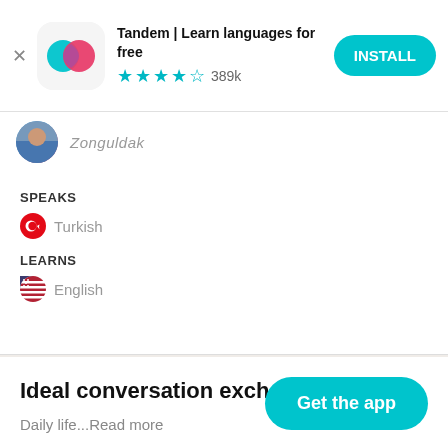[Figure (screenshot): Tandem app install banner with teal/pink logo, 4.5 star rating, 389k reviews, and INSTALL button]
Zonguldak
SPEAKS
Turkish
LEARNS
English
Ideal conversation exchange partner
Daily life...Read more
Get the app